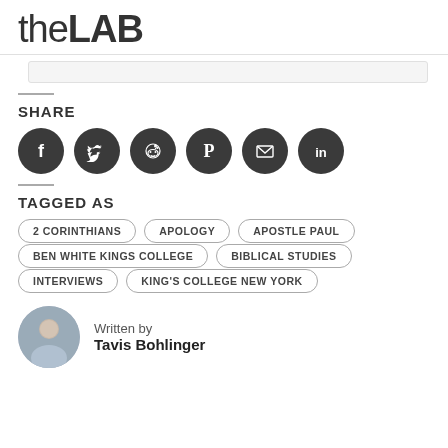theLAB
SHARE
[Figure (infographic): Social share icons: Facebook, Twitter, Reddit, Pinterest, Email, LinkedIn — each as a dark circle with white icon]
TAGGED AS
2 CORINTHIANS
APOLOGY
APOSTLE PAUL
BEN WHITE KINGS COLLEGE
BIBLICAL STUDIES
INTERVIEWS
KING'S COLLEGE NEW YORK
Written by
Tavis Bohlinger